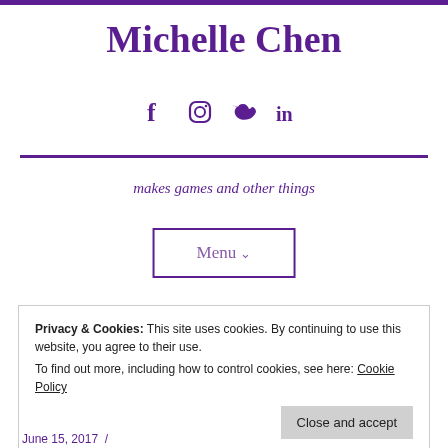Michelle Chen
[Figure (infographic): Social media icons: Facebook, Instagram, Twitter, LinkedIn in purple]
makes games and other things
Menu ∨
Privacy & Cookies: This site uses cookies. By continuing to use this website, you agree to their use.
To find out more, including how to control cookies, see here: Cookie Policy
Close and accept
June 15, 2017  /